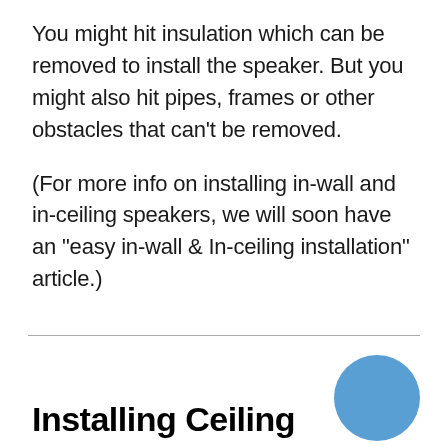You might hit insulation which can be removed to install the speaker. But you might also hit pipes, frames or other obstacles that can't be removed.
(For more info on installing in-wall and in-ceiling speakers, we will soon have an "easy in-wall & In-ceiling installation" article.)
[Figure (illustration): Blue filled circle decorative element in lower right area]
Installing Ceiling